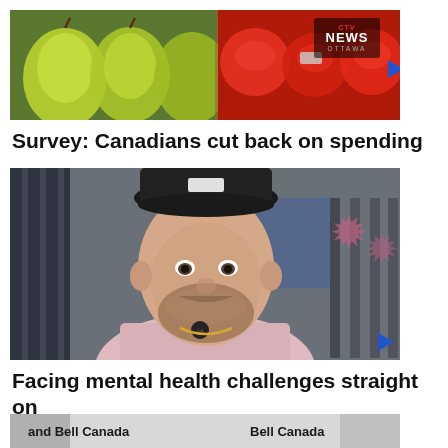[Figure (photo): Thumbnail image of produce — pears on the left and red apples/nectarines on the right, at a market display. CTV News Ottawa logo visible in top right corner.]
Survey: Canadians cut back on spending
[Figure (photo): Video thumbnail of a young man with a beard wearing a backwards black cap and a pink sweater, seated indoors against a blurred background. Interview-style shot.]
Facing mental health challenges straight on
[Figure (screenshot): Partial thumbnail showing text including 'and Bell Canada' and 'Bell Canada' — appears to be a partially visible article or video thumbnail.]